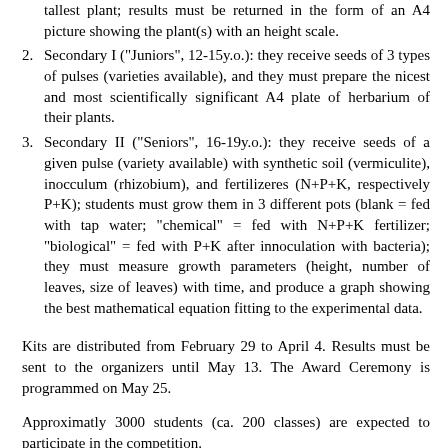tallest plant; results must be returned in the form of an A4 picture showing the plant(s) with an height scale.
2. Secondary I ("Juniors", 12-15y.o.): they receive seeds of 3 types of pulses (varieties available), and they must prepare the nicest and most scientifically significant A4 plate of herbarium of their plants.
3. Secondary II ("Seniors", 16-19y.o.): they receive seeds of a given pulse (variety available) with synthetic soil (vermiculite), inocculum (rhizobium), and fertilizeres (N+P+K, respectively P+K); students must grow them in 3 different pots (blank = fed with tap water; "chemical" = fed with N+P+K fertilizer; "biological" = fed with P+K after innoculation with bacteria); they must measure growth parameters (height, number of leaves, size of leaves) with time, and produce a graph showing the best mathematical equation fitting to the experimental data.
Kits are distributed from February 29 to April 4. Results must be sent to the organizers until May 13. The Award Ceremony is programmed on May 25.
Approximatly 3000 students (ca. 200 classes) are expected to participate in the competition.